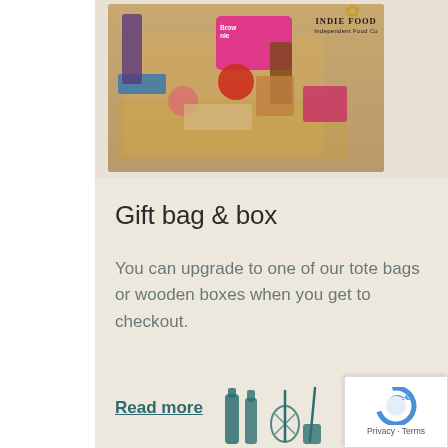[Figure (photo): An open gift box filled with various artisan food and drink products including jars, bottles, pink packaging, and other items on straw bedding. A gold ribbon bow is visible in the top right. The 'Indie Food Co' logo appears on the packaging.]
Gift bag & box
You can upgrade to one of our tote bags or wooden boxes when you get to checkout.
Read more
[Figure (illustration): Partial illustration of kitchen/food related items (bottles, whisk) in teal color at the bottom of the page]
[Figure (logo): Google reCAPTCHA badge in bottom right corner with Privacy and Terms text]